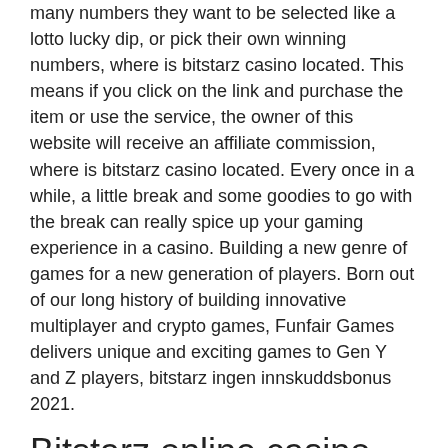many numbers they want to be selected like a lotto lucky dip, or pick their own winning numbers, where is bitstarz casino located. This means if you click on the link and purchase the item or use the service, the owner of this website will receive an affiliate commission, where is bitstarz casino located. Every once in a while, a little break and some goodies to go with the break can really spice up your gaming experience in a casino. Building a new genre of games for a new generation of players. Born out of our long history of building innovative multiplayer and crypto games, Funfair Games delivers unique and exciting games to Gen Y and Z players, bitstarz ingen innskuddsbonus 2021.
Bitstarz online casino, bitstarz no deposit бесплатные вращения